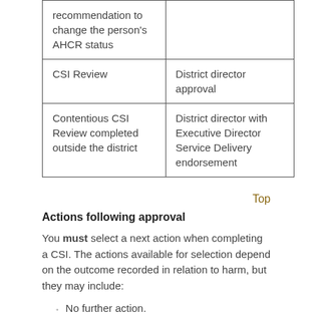| recommendation to change the person's AHCR status |  |
| CSI Review | District director approval |
| Contentious CSI Review completed outside the district | District director with Executive Director Service Delivery endorsement |
Top
Actions following approval
You must select a next action when completing a CSI. The actions available for selection depend on the outcome recorded in relation to harm, but they may include:
No further action.
The provision of social services s.21(1)(a).
The provision of Intensive Family Support Services s.22(1)(c).